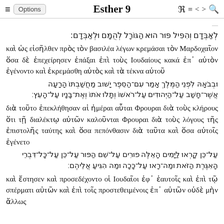≡  Options    Esther 9  ℜ ≡ < >  🔍
לְאַבְּדָם וְהִפִּיל פּוּר הוּא הַגּוֹרָל לְהֻמָּם וּלְאַבְּדָם׃
καὶ ὡς εἰσῆλθεν πρὸς τὸν βασιλέα λέγων κρεμάσαι τὸν Μαρδοχαῖον ὅσα δὲ ἐπεχείρησεν ἐπάξαι ἐπὶ τοὺς Ιουδαίους κακά ἐπ᾽ αὐτὸν ἐγένοντο καὶ ἐκρεμάσθη αὐτὸς καὶ τὰ τέκνα αὐτοῦ
וּבְבֹאָהּ לִפְנֵי הַמֶּלֶךְ אָמַר עִם־הַסֵּפֶר יָשׁוּב מַחֲשַׁבְתּוֹ הָרָעָה אֲשֶׁר־חָשַׁב עַל־הַיְּהוּדִים עַל־רֹאשׁוֹ וְתָלוּ אֹתוֹ וְאֶת־בָּנָיו עַל־הָעֵץ׃
διὰ τοῦτο ἐπεκλήθησαν αἱ ἡμέραι αὗται Φρουραι διὰ τοὺς κλήρους ὅτι τῇ διαλέκτῳ αὐτῶν καλοῦνται Φρουραι διὰ τοὺς λόγους τῆς ἐπιστολῆς ταύτης καὶ ὅσα πεπόνθασιν διὰ ταῦτα καὶ ὅσα αὐτοῖς ἐγένετο
עַל־כֵּן קָרְאוּ לַיָּמִים הָאֵלֶּה פוּרִים עַל־שֵׁם הַפּוּר עַל־כֵּן עַל־כָּל־דִּבְרֵי הָאִגֶּרֶת הַזֹּאת וּמַה־רָאוּ עַל־כָּכָה וּמַה הִגִּיעַ אֲלֵיהֶם׃
καὶ ἔστησεν καὶ προσεδέχοντο οἱ Ιουδαῖοι ἐφ᾽ ἑαυτοῖς καὶ ἐπὶ τῷ σπέρματι αὐτῶν καὶ ἐπὶ τοῖς προστεθειμένοις ἐπ᾽ αὐτῶν οὐδὲ μὴν ἄλλως